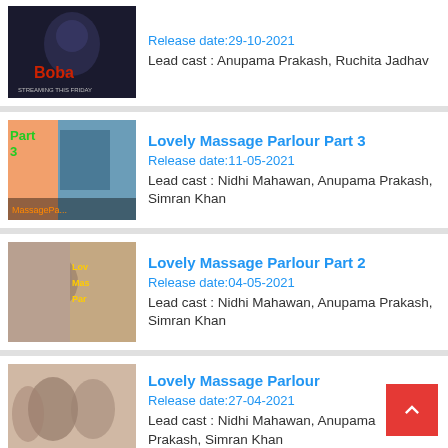[Figure (photo): Thumbnail for Boba (partial top card)]
Release date:29-10-2021
Lead cast : Anupama Prakash, Ruchita Jadhav
[Figure (photo): Thumbnail for Lovely Massage Parlour Part 3]
Lovely Massage Parlour Part 3
Release date:11-05-2021
Lead cast : Nidhi Mahawan, Anupama Prakash, Simran Khan
[Figure (photo): Thumbnail for Lovely Massage Parlour Part 2]
Lovely Massage Parlour Part 2
Release date:04-05-2021
Lead cast : Nidhi Mahawan, Anupama Prakash, Simran Khan
[Figure (photo): Thumbnail for Lovely Massage Parlour]
Lovely Massage Parlour
Release date:27-04-2021
Lead cast : Nidhi Mahawan, Anupama Prakash, Simran Khan